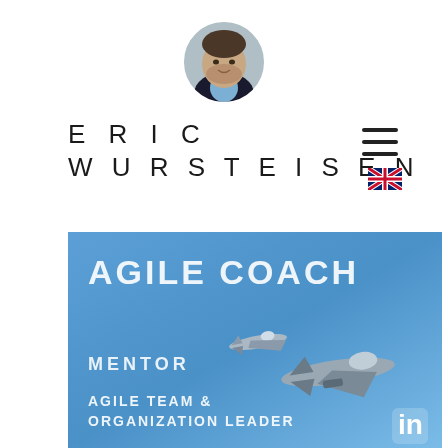[Figure (photo): Circular profile photo of Eric Wursteisen, a man in a dark jacket]
ERIC WURSTEISEN
[Figure (illustration): Hamburger menu icon (three horizontal lines)]
[Figure (illustration): UK flag icon for language selection]
[Figure (infographic): Blue banner with text AGILE COACH, MENTOR, AGILE TEAM & ORGANIZATION LEADER, two military aircraft flying, and LinkedIn logo]